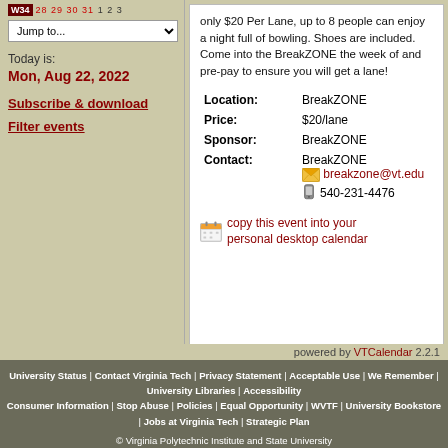W34  28  29  30  31  1  2  3
Jump to...
Today is:
Mon, Aug 22, 2022
Subscribe & download
Filter events
only $20 Per Lane, up to 8 people can enjoy a night full of bowling. Shoes are included. Come into the BreakZONE the week of and pre-pay to ensure you will get a lane!
| Field | Value |
| --- | --- |
| Location: | BreakZONE |
| Price: | $20/lane |
| Sponsor: | BreakZONE |
| Contact: | BreakZONE
breakzone@vt.edu
540-231-4476 |
copy this event into your personal desktop calendar
powered by VTCalendar 2.2.1
University Status | Contact Virginia Tech | Privacy Statement | Acceptable Use | We Remember | University Libraries | Accessibility
Consumer Information | Stop Abuse | Policies | Equal Opportunity | WVTF | University Bookstore | Jobs at Virginia Tech | Strategic Plan
© Virginia Polytechnic Institute and State University